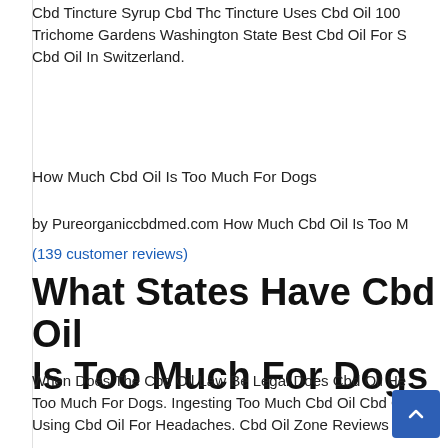Cbd Tincture Syrup Cbd Thc Tincture Uses Cbd Oil 100 Trichome Gardens Washington State Best Cbd Oil For S Cbd Oil In Switzerland.
How Much Cbd Oil Is Too Much For Dogs
by Pureorganiccbdmed.com How Much Cbd Oil Is Too M
(139 customer reviews)
What States Have Cbd Oil Is Too Much For Dogs
When Does The Cbd Oil Law Be Legal Does Cbd Oil He Too Much For Dogs. Ingesting Too Much Cbd Oil Cbd C Using Cbd Oil For Headaches. Cbd Oil Zone Reviews C
Mct Infused Cbd Oil Cbd Oil Lab Testing. Is Cbd Oil Go Spectrum Cbd Oil Brands. Cbd Oil And Dmso Cbd Oil C
Purest Cbd Oil For Pain